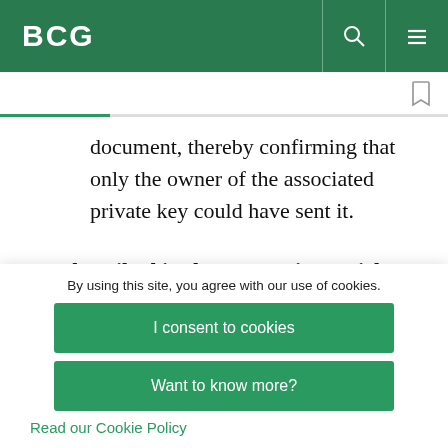BCG
document, thereby confirming that only the owner of the associated private key could have sent it.
As described in the companion article “Thinking
By using this site, you agree with our use of cookies.
I consent to cookies
Want to know more?
Read our Cookie Policy